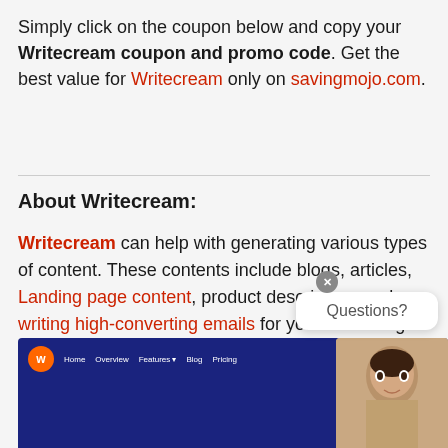Simply click on the coupon below and copy your Writecream coupon and promo code. Get the best value for Writecream only on savingmojo.com.
About Writecream:
Writecream can help with generating various types of content. These contents include blogs, articles, Landing page content, product description, and writing high-converting emails for your marketing campaigns.
[Figure (screenshot): Screenshot of Writecream website showing navy blue header navigation with logo, Home, Overview, Features, Blog, Pricing, and 24x7 Support links. A partial portrait of a person is visible.]